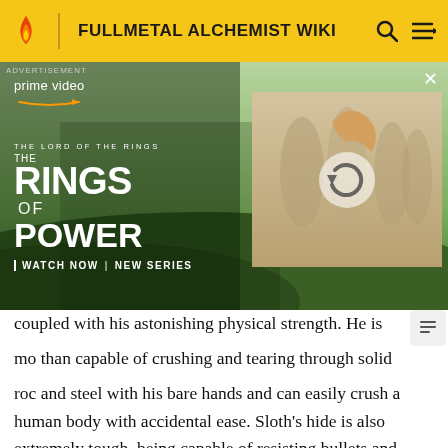FULLMETAL ALCHEMIST WIKI
[Figure (screenshot): Amazon Prime Video advertisement for 'The Lord of the Rings: The Rings of Power' showing two characters in a field and a second image of robed figures with a reload/refresh icon overlay. Text reads: ADVERTISEMENT, prime video, THE LORD OF THE RINGS, THE RINGS OF POWER, WATCH NOW | NEW SERIES. Close button X in top right.]
coupled with his astonishing physical strength. He is more than capable of crushing and tearing through solid rock and steel with his bare hands and can easily crush a human body with accidental ease. Sloth's hide is also extremely tough, being capable of resisting bullets and merely being staggered by a rocket launcher - however it has weak points: such as on the top of his head and the inside of his body. Nothing short of tank or artillery fire could pierce it from a distance. In his most devastating